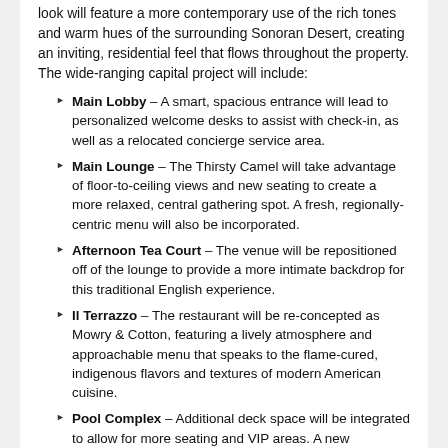look will feature a more contemporary use of the rich tones and warm hues of the surrounding Sonoran Desert, creating an inviting, residential feel that flows throughout the property. The wide-ranging capital project will include:
Main Lobby – A smart, spacious entrance will lead to personalized welcome desks to assist with check-in, as well as a relocated concierge service area.
Main Lounge – The Thirsty Camel will take advantage of floor-to-ceiling views and new seating to create a more relaxed, central gathering spot. A fresh, regionally-centric menu will also be incorporated.
Afternoon Tea Court – The venue will be repositioned off of the lounge to provide a more intimate backdrop for this traditional English experience.
Il Terrazzo – The restaurant will be re-concepted as Mowry & Cotton, featuring a lively atmosphere and approachable menu that speaks to the flame-cured, indigenous flavors and textures of modern American cuisine.
Pool Complex – Additional deck space will be integrated to allow for more seating and VIP areas. A new waterslide and other family-friendly recreational